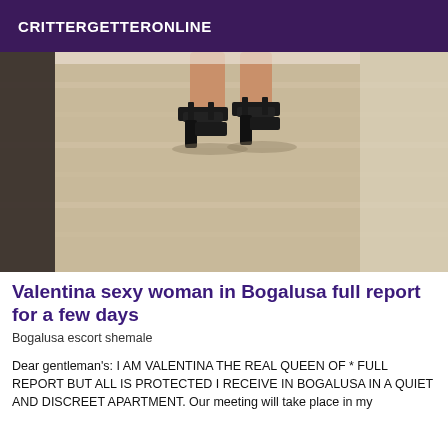CRITTERGETTERONLINE
[Figure (photo): Photo of feet wearing black high-heel sandals on a light wood floor, with a dark object on the left side]
Valentina sexy woman in Bogalusa full report for a few days
Bogalusa escort shemale
Dear gentleman's: I AM VALENTINA THE REAL QUEEN OF * FULL REPORT BUT ALL IS PROTECTED I RECEIVE IN BOGALUSA IN A QUIET AND DISCREET APARTMENT. Our meeting will take place in my